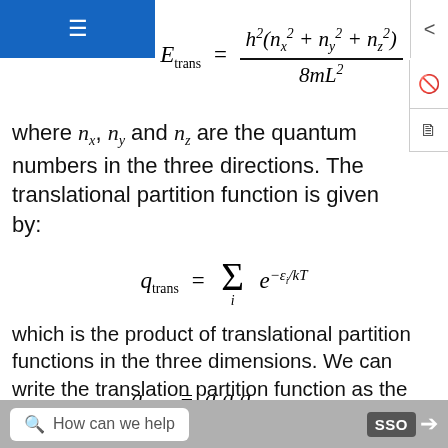where n_x, n_y and n_z are the quantum numbers in the three directions. The translational partition function is given by:
which is the product of translational partition functions in the three dimensions. We can write the translation partition function as the product of the translation partition function for each direction:
How can we help   SSO